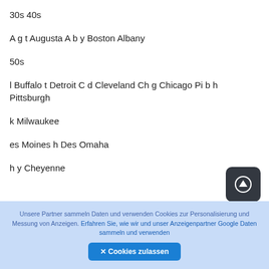30s 40s
A g t Augusta A b y Boston Albany
50s
l Buffalo t Detroit C d Cleveland Ch g Chicago Pi b h Pittsburgh
k Milwaukee
es Moines h Des Omaha
h y Cheyenne
[Figure (other): Dark rounded square button with a circled up-arrow icon]
Unsere Partner sammeln Daten und verwenden Cookies zur Personalisierung und Messung von Anzeigen. Erfahren Sie, wie wir und unser Anzeigenpartner Google Daten sammeln und verwenden
✕ Cookies zulassen